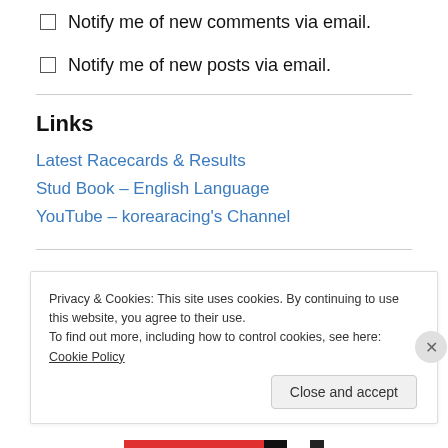Notify me of new comments via email.
Notify me of new posts via email.
Links
Latest Racecards & Results
Stud Book – English Language
YouTube – korearacing's Channel
Privacy & Cookies: This site uses cookies. By continuing to use this website, you agree to their use.
To find out more, including how to control cookies, see here: Cookie Policy
Close and accept